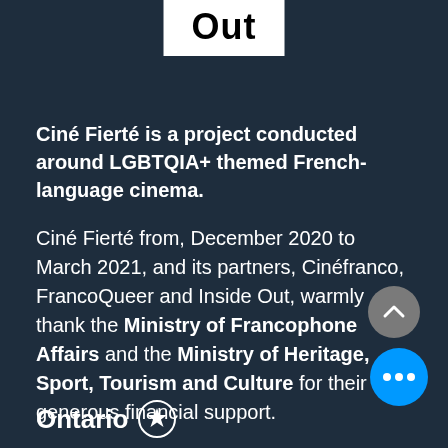[Figure (logo): Inside Out logo — white box with black bold text 'Out']
Ciné Fierté is a project conducted around LGBTQIA+ themed French-language cinema.
Ciné Fierté from, December 2020 to March 2021, and its partners, Cinéfranco, FrancoQueer and Inside Out, warmly thank the Ministry of Francophone Affairs and the Ministry of Heritage, Sport, Tourism and Culture for their generous financial support.
[Figure (logo): Ontario logo with trillium symbol]